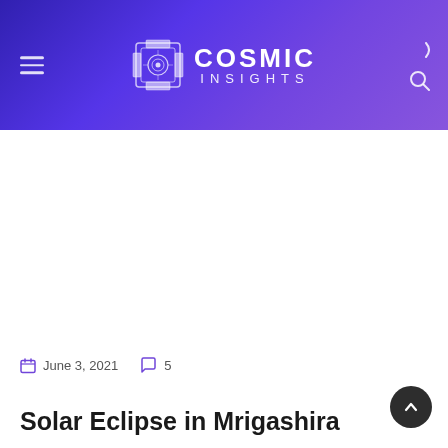COSMIC INSIGHTS
June 3, 2021   5
Solar Eclipse in Mrigashira